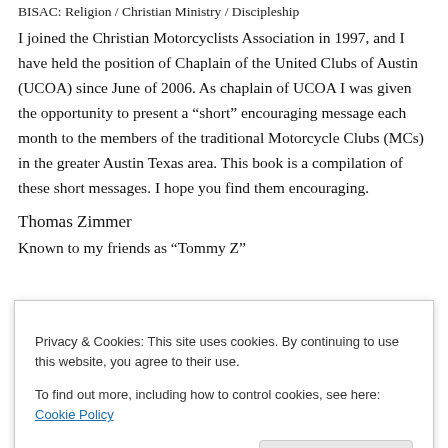BISAC: Religion / Christian Ministry / Discipleship
I joined the Christian Motorcyclists Association in 1997, and I have held the position of Chaplain of the United Clubs of Austin (UCOA) since June of 2006. As chaplain of UCOA I was given the opportunity to present a “short” encouraging message each month to the members of the traditional Motorcycle Clubs (MCs) in the greater Austin Texas area. This book is a compilation of these short messages. I hope you find them encouraging.
Thomas Zimmer
Known to my friends as “Tommy Z”
Privacy & Cookies: This site uses cookies. By continuing to use this website, you agree to their use.
To find out more, including how to control cookies, see here: Cookie Policy